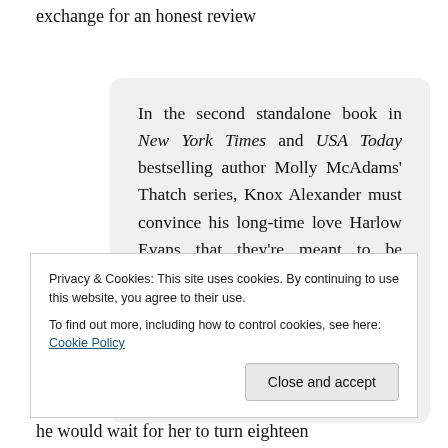exchange for an honest review
In the second standalone book in New York Times and USA Today bestselling author Molly McAdams' Thatch series, Knox Alexander must convince his long-time love Harlow Evans that they're meant to be together.

He promised to wait for her.
She told him he was wasting his time.
he would wait for her to turn eighteen
Privacy & Cookies: This site uses cookies. By continuing to use this website, you agree to their use.
To find out more, including how to control cookies, see here: Cookie Policy